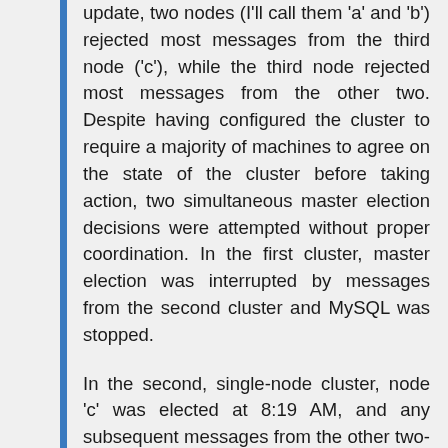update, two nodes (I'll call them 'a' and 'b') rejected most messages from the third node ('c'), while the third node rejected most messages from the other two. Despite having configured the cluster to require a majority of machines to agree on the state of the cluster before taking action, two simultaneous master election decisions were attempted without proper coordination. In the first cluster, master election was interrupted by messages from the second cluster and MySQL was stopped.
In the second, single-node cluster, node 'c' was elected at 8:19 AM, and any subsequent messages from the other two-node cluster were discarded. As luck would have it, the 'c' node was the node that our operations team previously determined to be out of date. We